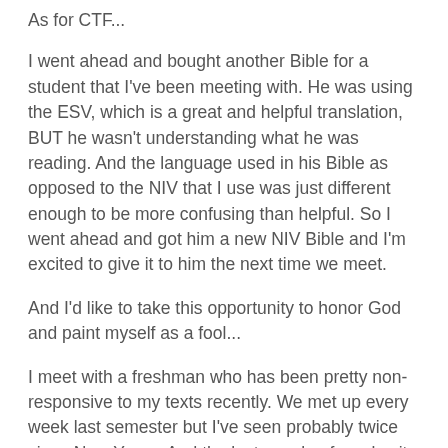As for CTF...
I went ahead and bought another Bible for a student that I've been meeting with. He was using the ESV, which is a great and helpful translation, BUT he wasn't understanding what he was reading. And the language used in his Bible as opposed to the NIV that I use was just different enough to be more confusing than helpful. So I went ahead and got him a new NIV Bible and I'm excited to give it to him the next time we meet.
And I'd like to take this opportunity to honor God and paint myself as a fool...
I meet with a freshman who has been pretty non-responsive to my texts recently. We met up every week last semester but I've seen probably twice since New Years. And the last couple of weeks, it was more of the non-responsiveness and, to be frank, I found myself becoming frustrated. You do ministry long enough and you get used to people ghosting you and